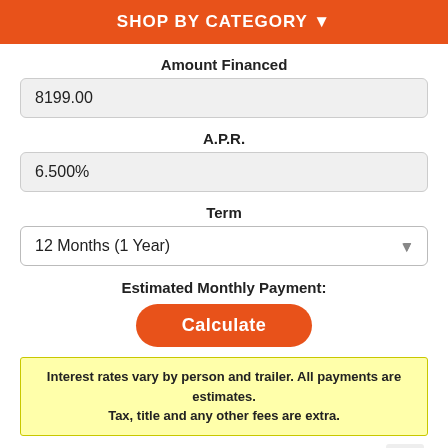SHOP BY CATEGORY ▼
Amount Financed
8199.00
A.P.R.
6.500%
Term
12 Months (1 Year)
Estimated Monthly Payment:
Calculate
Interest rates vary by person and trailer. All payments are estimates. Tax, title and any other fees are extra.
OTHER RECOMMENDATIONS
[Figure (photo): Thumbnail image of a trailer or outdoor product in a green/forested setting]